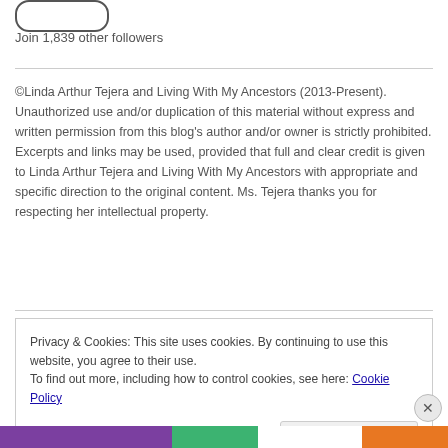[Figure (logo): Rounded rectangle logo/button outline]
Join 1,839 other followers
©Linda Arthur Tejera and Living With My Ancestors (2013-Present). Unauthorized use and/or duplication of this material without express and written permission from this blog's author and/or owner is strictly prohibited. Excerpts and links may be used, provided that full and clear credit is given to Linda Arthur Tejera and Living With My Ancestors with appropriate and specific direction to the original content. Ms. Tejera thanks you for respecting her intellectual property.
Privacy & Cookies: This site uses cookies. By continuing to use this website, you agree to their use.
To find out more, including how to control cookies, see here: Cookie Policy
Close and accept